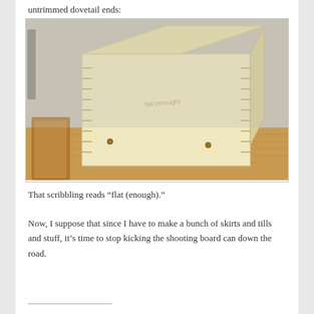untrimmed dovetail ends:
[Figure (photo): A wooden box with dovetail joinery sitting on a workbench. The box is made of light-colored wood (pine or similar) and shows the characteristic interlocking dovetail joints on the corners. The box is placed on a wooden workbench in what appears to be a workshop setting.]
That scribbling reads “flat (enough).”
Now, I suppose that since I have to make a bunch of skirts and tills and stuff, it’s time to stop kicking the shooting board can down the road.